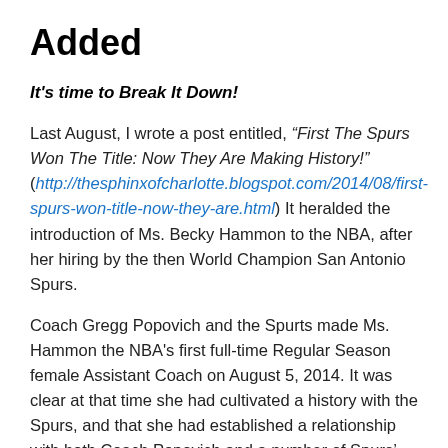Added
It's time to Break It Down!
Last August, I wrote a post entitled, “First The Spurs Won The Title: Now They Are Making History!” (http://thesphinxofcharlotte.blogspot.com/2014/08/first-spurs-won-title-now-they-are.html) It heralded the introduction of Ms. Becky Hammon to the NBA, after her hiring by the then World Champion San Antonio Spurs.
Coach Gregg Popovich and the Spurts made Ms. Hammon the NBA's first full-time Regular Season female Assistant Coach on August 5, 2014. It was clear at that time she had cultivated a history with the Spurs, and that she had established a relationship with both Coach Popovich and a number of Spurs’ players. Other women